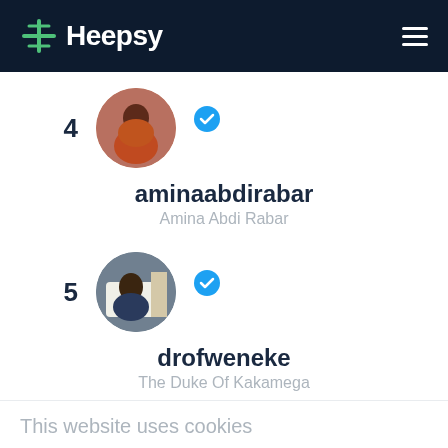Heepsy
4
[Figure (photo): Profile photo of aminaabdirabar - person in orange/rust colored outfit seated, circular avatar with blue verified checkmark badge]
aminaabdirabar
Amina Abdi Rabar
5
[Figure (photo): Profile photo of drofweneke - person seated near fireplace, circular avatar with blue verified checkmark badge]
drofweneke
The Duke Of Kakamega
This website uses cookies